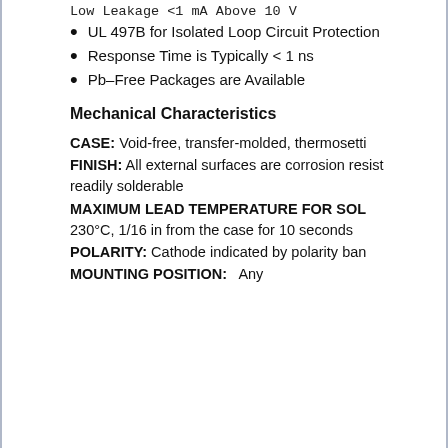Low Leakage <1 mA Above 10 V
UL 497B for Isolated Loop Circuit Protection
Response Time is Typically < 1 ns
Pb-Free Packages are Available
Mechanical Characteristics
CASE: Void-free, transfer-molded, thermosetting
FINISH: All external surfaces are corrosion resistant and readily solderable
MAXIMUM LEAD TEMPERATURE FOR SOLDERING: 230°C, 1/16 in from the case for 10 seconds
POLARITY: Cathode indicated by polarity band
MOUNTING POSITION: Any